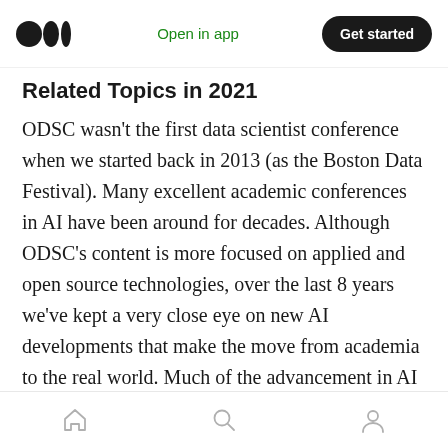Open in app | Get started
Related Topics in 2021
ODSC wasn't the first data scientist conference when we started back in 2013 (as the Boston Data Festival). Many excellent academic conferences in AI have been around for decades. Although ODSC's content is more focused on applied and open source technologies, over the last 8 years we've kept a very close eye on new AI developments that make the move from academia to the real world. Much of the advancement in AI & ML emerged from either academia or open-source, oftentimes both. A good proxy of what's to come in the industry can be gauged from
Home | Search | Profile